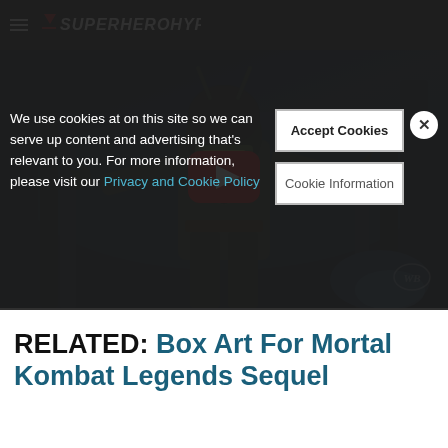SuperHeroHype
We use cookies at on this site so we can serve up content and advertising that's relevant to you. For more information, please visit our Privacy and Cookie Policy
[Figure (screenshot): YouTube video thumbnail showing an animated character (Scorpion-like ninja) from Mortal Kombat Legends with a red YouTube play button overlay, dark blue forest background, WB watermark bottom right]
RELATED: Box Art For Mortal Kombat Legends Sequel